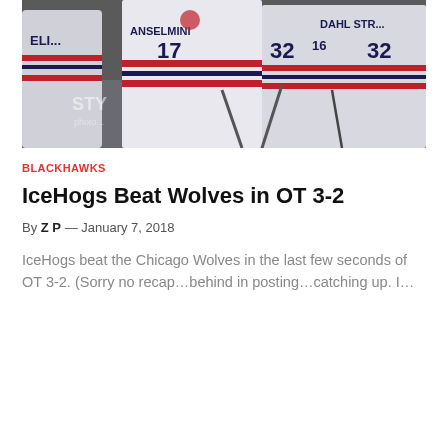[Figure (photo): Hockey players in white jerseys with numbers, including player 17 ANSELMINI and player 32 DAHLSTROM, huddled together on ice]
BLACKHAWKS
IceHogs Beat Wolves in OT 3-2
By Z P — January 7, 2018
IceHogs beat the Chicago Wolves in the last few seconds of OT 3-2. (Sorry no recap…behind in posting…catching up. I…